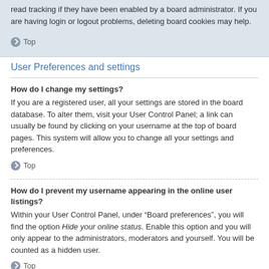read tracking if they have been enabled by a board administrator. If you are having login or logout problems, deleting board cookies may help.
Top
User Preferences and settings
How do I change my settings?
If you are a registered user, all your settings are stored in the board database. To alter them, visit your User Control Panel; a link can usually be found by clicking on your username at the top of board pages. This system will allow you to change all your settings and preferences.
Top
How do I prevent my username appearing in the online user listings?
Within your User Control Panel, under “Board preferences”, you will find the option Hide your online status. Enable this option and you will only appear to the administrators, moderators and yourself. You will be counted as a hidden user.
Top
The times are not correct!
It is possible the time displayed is from a timezone different from the one you are in. If this is the case, visit your User Control Panel and change your timezone to match your particular area, e.g. London, Paris, New York, Sydney, etc. Please